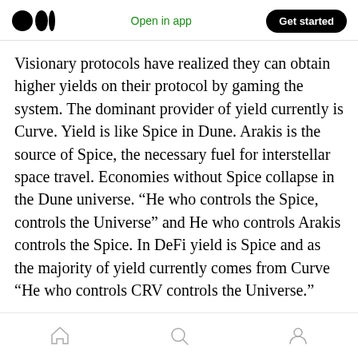Medium logo | Open in app | Get started
Visionary protocols have realized they can obtain higher yields on their protocol by gaming the system. The dominant provider of yield currently is Curve. Yield is like Spice in Dune. Arakis is the source of Spice, the necessary fuel for interstellar space travel. Economies without Spice collapse in the Dune universe. “He who controls the Spice, controls the Universe” and He who controls Arakis controls the Spice. In DeFi yield is Spice and as the majority of yield currently comes from Curve “He who controls CRV controls the Universe.”
Home | Search | Profile